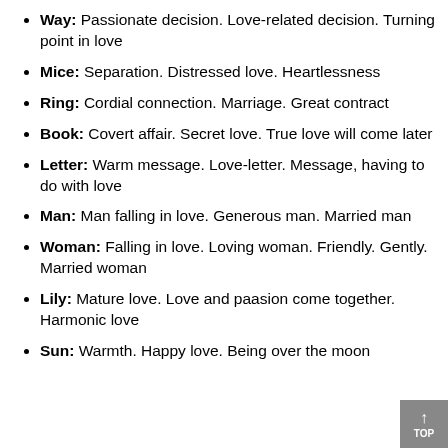Way: Passionate decision. Love-related decision. Turning point in love
Mice: Separation. Distressed love. Heartlessness
Ring: Cordial connection. Marriage. Great contract
Book: Covert affair. Secret love. True love will come later
Letter: Warm message. Love-letter. Message, having to do with love
Man: Man falling in love. Generous man. Married man
Woman: Falling in love. Loving woman. Friendly. Gently. Married woman
Lily: Mature love. Love and paasion come together. Harmonic love
Sun: Warmth. Happy love. Being over the moon